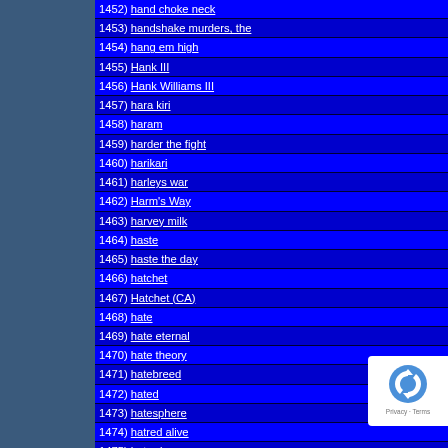1452) hand choke neck
1453) handshake murders, the
1454) hang em high
1455) Hank III
1456) Hank Williams III
1457) hara kiri
1458) haram
1459) harder the fight
1460) harikari
1461) harleys war
1462) Harm's Way
1463) harvey milk
1464) haste
1465) haste the day
1466) hatchet
1467) Hatchet (CA)
1468) hate
1469) hate eternal
1470) hate theory
1471) hatebreed
1472) hated
1473) hatesphere
1474) hatred alive
1475) hatred surge
1476) haunted, the
1477) have heart
1478) havoc hate
1479) hawthorne effect, the